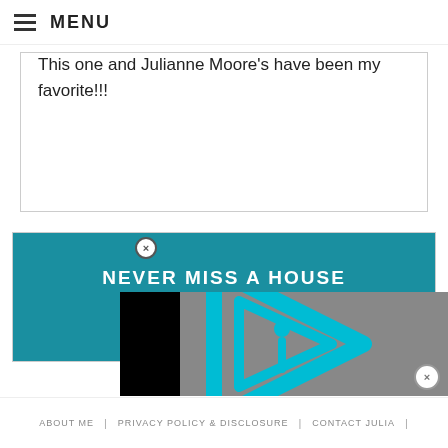MENU
This one and Julianne Moore's have been my favorite!!!
[Figure (infographic): Newsletter signup banner with teal background. Title reads 'NEVER MISS A HOUSE'. Below is a white button with teal italic text 'SIGN UP'. A close button circle with X is overlaid.]
[Figure (screenshot): Video player overlay showing a gray background with a cyan/teal triangular play button icon containing an 'i' symbol. Left and right sides are black bars.]
ABOUT ME | PRIVACY POLICY & DISCLOSURE | CONTACT JULIA |